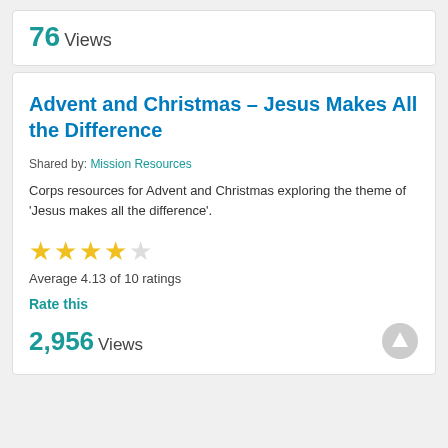76 Views
Advent and Christmas – Jesus Makes All the Difference
Shared by: Mission Resources
Corps resources for Advent and Christmas exploring the theme of 'Jesus makes all the difference'.
[Figure (other): 4 out of 5 star rating displayed as gold stars]
Average 4.13 of 10 ratings
Rate this
2,956 Views